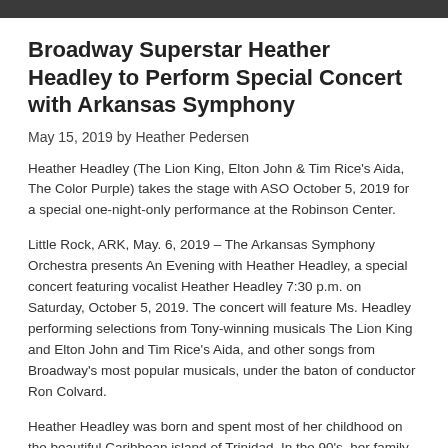Broadway Superstar Heather Headley to Perform Special Concert with Arkansas Symphony
May 15, 2019 by Heather Pedersen
Heather Headley (The Lion King, Elton John & Tim Rice's Aida, The Color Purple) takes the stage with ASO October 5, 2019 for a special one-night-only performance at the Robinson Center.
Little Rock, ARK, May. 6, 2019 – The Arkansas Symphony Orchestra presents An Evening with Heather Headley, a special concert featuring vocalist Heather Headley 7:30 p.m. on Saturday, October 5, 2019. The concert will feature Ms. Headley performing selections from Tony-winning musicals The Lion King and Elton John and Tim Rice's Aida, and other songs from Broadway's most popular musicals, under the baton of conductor Ron Colvard.
Heather Headley was born and spent most of her childhood on the beautiful Caribbean island of Trinidad. In the 90's, her family moved to the United States where her love for the arts flourished and grew into an incredible and